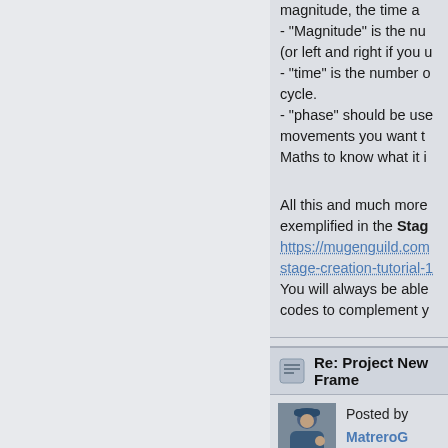magnitude, the time a- "Magnitude" is the nu (or left and right if you u - "time" is the number o cycle. - "phase" should be use movements you want t Maths to know what it i
All this and much more exemplified in the Stage https://mugenguild.com stage-creation-tutorial-1 You will always be able codes to complement y
Re: Project New Frame
Posted by MatreroG V and VI (Started by k Board: Sprite Project